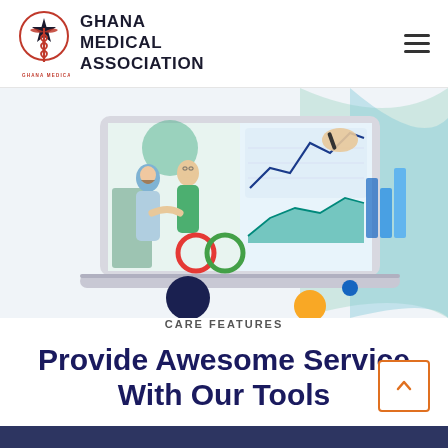Ghana Medical Association
[Figure (illustration): A laptop screen showing business/collaboration illustrations: two people shaking hands on the left, charts and analytics graphics on the right, with decorative circles (dark blue, orange, light blue) and a blue-green wave shape in the background.]
CARE FEATURES
Provide Awesome Service With Our Tools